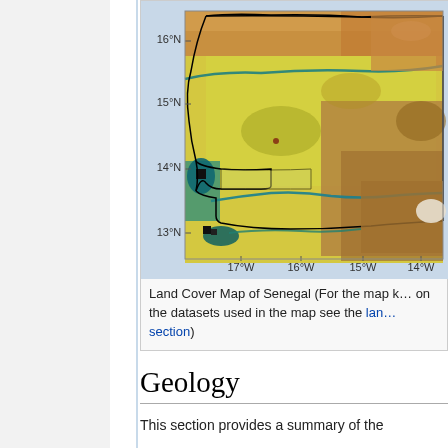[Figure (map): Land Cover Map of Senegal showing vegetation and land use distribution. The map displays latitude labels (16°N, 15°N, 14°N, 13°N) on the left axis and longitude labels (17°W, 16°W, 15°W, 14°W) on the bottom axis. The map uses a multi-color scheme: yellow for savanna/grassland, orange/brown for arid land, teal/dark for water and wetlands, black for urban areas. A black border outlines Senegal and The Gambia.]
Land Cover Map of Senegal (For the map key and information on the datasets used in the map see the land cover section)
Geology
This section provides a summary of the